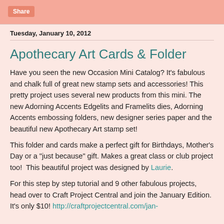Share
Tuesday, January 10, 2012
Apothecary Art Cards & Folder
Have you seen the new Occasion Mini Catalog? It's fabulous and chalk full of great new stamp sets and accessories! This pretty project uses several new products from this mini. The new Adorning Accents Edgelits and Framelits dies, Adorning Accents embossing folders, new designer series paper and the beautiful new Apothecary Art stamp set!
This folder and cards make a perfect gift for Birthdays, Mother's Day or a "just because" gift. Makes a great class or club project too!  This beautiful project was designed by Laurie.
For this step by step tutorial and 9 other fabulous projects, head over to Craft Project Central and join the January Edition.  It's only $10! http://craftprojectcentral.com/jan-